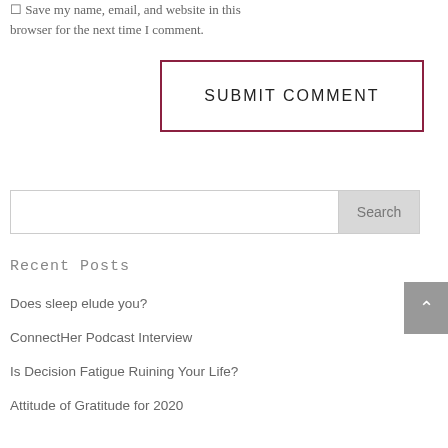Save my name, email, and website in this browser for the next time I comment.
SUBMIT COMMENT
Search
Recent Posts
Does sleep elude you?
ConnectHer Podcast Interview
Is Decision Fatigue Ruining Your Life?
Attitude of Gratitude for 2020